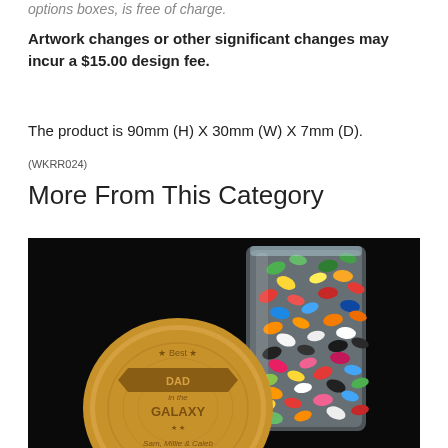options boxes, is free of charge.
Artwork changes or other significant changes may incur a $15.00 design fee.
The product is 90mm (H) X 30mm (W) X 7mm (D).
(WKRR024)
More From This Category
[Figure (photo): A glass jar filled with colorful jelly beans next to a round wooden coaster engraved with 'Best Dad in the Galaxy - Sam, Millie & Caleb', on a black background.]